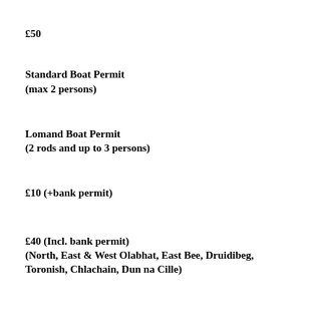£50
Standard Boat Permit
(max 2 persons)
Lomand Boat Permit
(2 rods and up to 3 persons)
£10 (+bank permit)
£40 (Incl. bank permit)
(North, East & West Olabhat, East Bee, Druidibeg, Toronish, Chlachain, Dun na Cille)